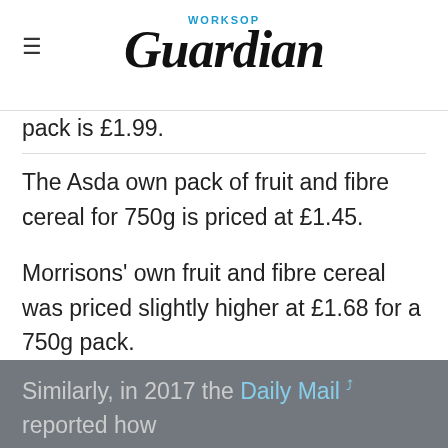WORKSOP Guardian
pack is £1.99.
The Asda own pack of fruit and fibre cereal for 750g is priced at £1.45.
Morrisons' own fruit and fibre cereal was priced slightly higher at £1.68 for a 750g pack.
In 2017, The Sun conducted an investigation which revealed some of the household brands that were also behind own-brand products.
Similarly, in 2017 the Daily Mail reported how